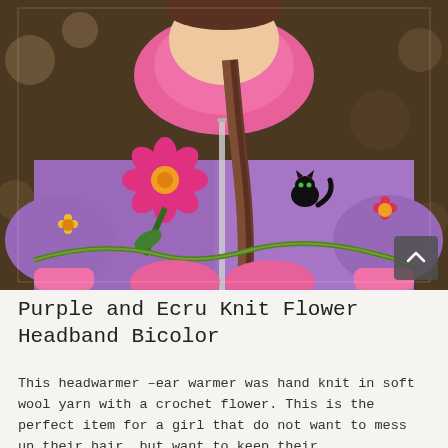[Figure (photo): A young girl wearing a purple hooded zip-up knit sweater decorated with colorful crochet flowers, green vines, and a small black cat figure. She has a long brown braid and is wearing pink gloves. The background is blurred autumn foliage.]
Purple and Ecru Knit Flower Headband Bicolor
This headwarmer –ear warmer was hand knit in soft wool yarn with a crochet flower. This is the perfect item for a girl that do not want to mess up their hair, but want to keep their